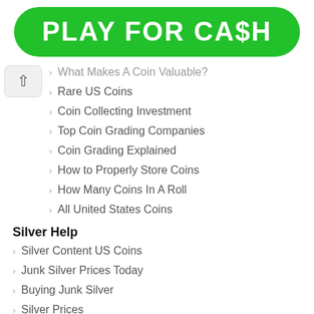[Figure (logo): Green rounded rectangle banner with white bold text reading 'PLAY FOR CA$H']
What Makes A Coin Valuable?
Rare US Coins
Coin Collecting Investment
Top Coin Grading Companies
Coin Grading Explained
How to Properly Store Coins
How Many Coins In A Roll
All United States Coins
Silver Help
Silver Content US Coins
Junk Silver Prices Today
Buying Junk Silver
Silver Prices